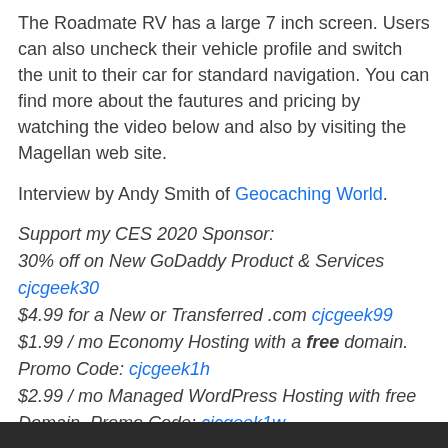The Roadmate RV has a large 7 inch screen. Users can also uncheck their vehicle profile and switch the unit to their car for standard navigation. You can find more about the fautures and pricing by watching the video below and also by visiting the Magellan web site.
Interview by Andy Smith of Geocaching World.
Support my CES 2020 Sponsor:
30% off on New GoDaddy Product & Services
cjcgeek30
$4.99 for a New or Transferred .com cjcgeek99
$1.99 / mo Economy Hosting with a free domain. Promo Code: cjcgeek1h
$2.99 / mo Managed WordPress Hosting with free Domain. Promo Code: cjcgeek1w
Support the show by becoming a Geek News Central Insider